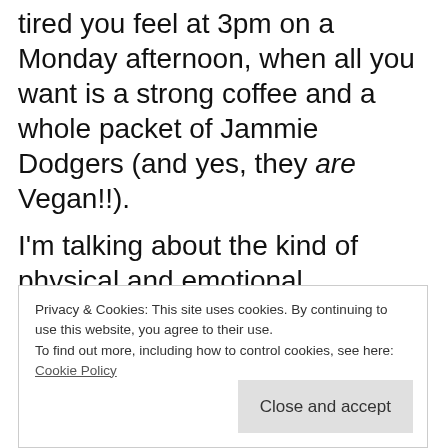tired you feel at 3pm on a Monday afternoon, when all you want is a strong coffee and a whole packet of Jammie Dodgers (and yes, they are Vegan!!).
I'm talking about the kind of physical and emotional exhaustion that an undernourished salmon feels after what seems like a lifetime swimming up a very steep stream. When you've depleted any energy and drive you
Privacy & Cookies: This site uses cookies. By continuing to use this website, you agree to their use.
To find out more, including how to control cookies, see here: Cookie Policy